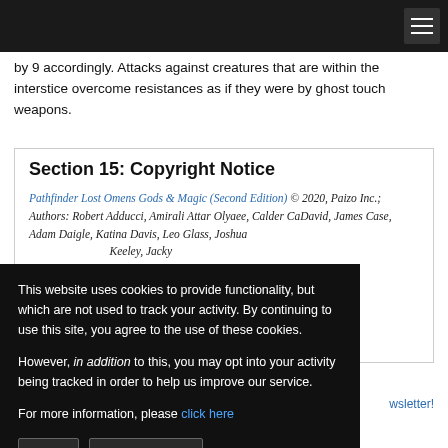by 9 accordingly. Attacks against creatures that are within the interstice overcome resistances as if they were by ghost touch weapons.
Section 15: Copyright Notice
Pathfinder Lost Omens Gods & Magic (Second Edition) © 2020, Paizo Inc.; Authors: Robert Adducci, Amirali Attar Olyaee, Calder CaDavid, James Case, Adam Daigle, Katina Davis, Leo Glass, Joshua [...]Keeley, Jacky [...]een, Jacob W. [...]helan, Jennifer [...]ck Renie, David N. [...]artz, Shahreena [...]dro, and Diego
This website uses cookies to provide functionality, but which are not used to track your activity. By continuing to use this site, you agree to the use of these cookies.

However, in addition to this, you may opt into your activity being tracked in order to help us improve our service.

For more information, please click here
newsletter!
Latest Pathfinder 2e!